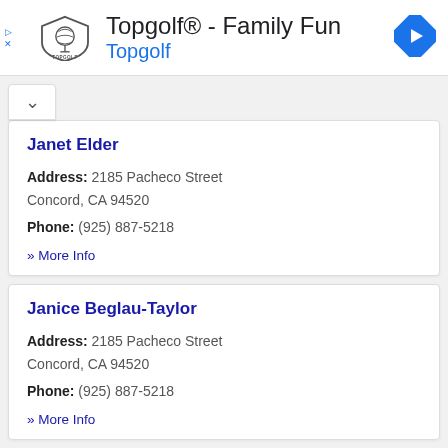[Figure (other): Topgolf advertisement banner with logo, title 'Topgolf® - Family Fun', subtitle 'Topgolf', and navigation arrow icon]
Janet Elder
Address: 2185 Pacheco Street
Concord, CA 94520
Phone: (925) 887-5218
» More Info
Janice Beglau-Taylor
Address: 2185 Pacheco Street
Concord, CA 94520
Phone: (925) 887-5218
» More Info